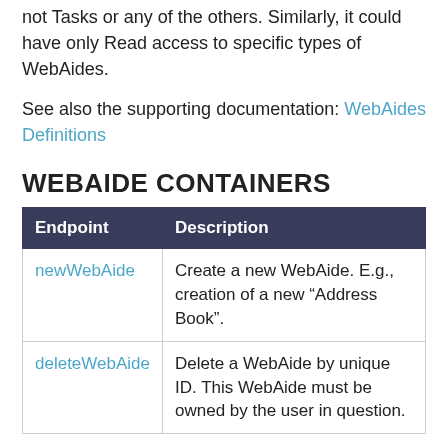not Tasks or any of the others. Similarly, it could have only Read access to specific types of WebAides.
See also the supporting documentation: WebAides Definitions
WEBAIDE CONTAINERS
| Endpoint | Description |
| --- | --- |
| newWebAide | Create a new WebAide. E.g., creation of a new “Address Book”. |
| deleteWebAide | Delete a WebAide by unique ID. This WebAide must be owned by the user in question. |